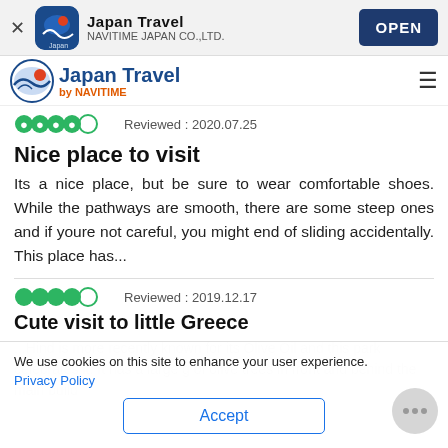[Figure (screenshot): App install banner for Japan Travel by NAVITIME JAPAN CO.,LTD. with an OPEN button]
[Figure (logo): Japan Travel by NAVITIME site navigation bar with logo and hamburger menu]
Reviewed : 2020.07.25
Nice place to visit
Its a nice place, but be sure to wear comfortable shoes. While the pathways are smooth, there are some steep ones and if youre not careful, you might end of sliding accidentally. This place has...
Reviewed : 2019.12.17
Cute visit to little Greece
...Hind is more recently known for its Olive Oil and this park celebrates it. It has a large gr of olive trees in front and behind the main build...
We use cookies on this site to enhance your user experience.
Privacy Policy
Accept